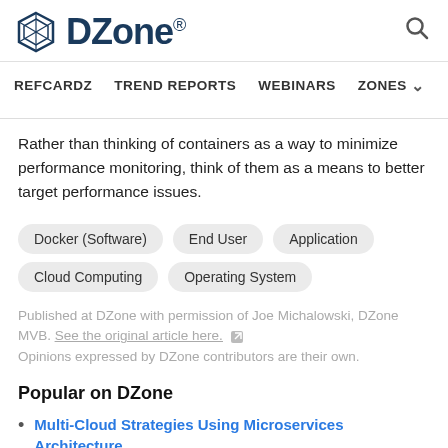DZone. REFCARDZ TREND REPORTS WEBINARS ZONES
Rather than thinking of containers as a way to minimize performance monitoring, think of them as a means to better target performance issues.
Docker (Software)
End User
Application
Cloud Computing
Operating System
Published at DZone with permission of Joe Michalowski, DZone MVB. See the original article here. Opinions expressed by DZone contributors are their own.
Popular on DZone
Multi-Cloud Strategies Using Microservices Architecture
How a Service Mesh Simplifies Microservice Observability